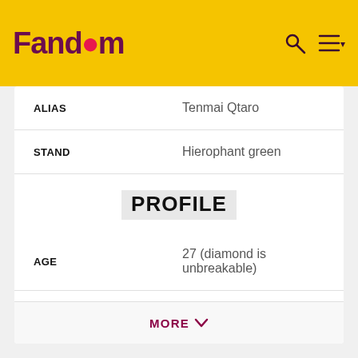[Figure (logo): Fandom logo with flame icon on yellow background, search icon and hamburger menu icon top right]
| Field | Value |
| --- | --- |
| ALIAS | Tenmai Qtaro |
| STAND | Hierophant green |
PROFILE
| Field | Value |
| --- | --- |
| AGE | 27 (diamond is unbreakable) |
| ZODIAC SIGN | Leo |
| GENDER | Male |
| HEIGHT | 178[2] cm (5 ft 10 in |
MORE ∨